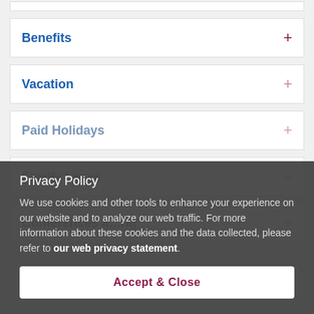Benefits
Vacation
Privacy Policy
Paid Holidays
We use cookies and other tools to enhance your experience on our website and to analyze our web traffic. For more information about these cookies and the data collected, please refer to our web privacy statement.
Family Leave
Conferences a…ng
Accept & Close